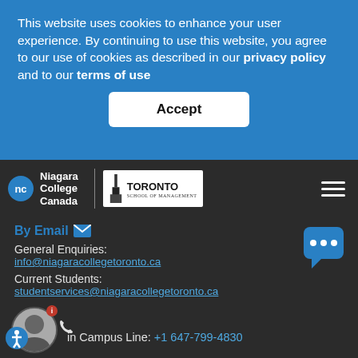This website uses cookies to enhance your user experience. By continuing to use this website, you agree to our use of cookies as described in our privacy policy and to our terms of use
Accept
[Figure (logo): Niagara College Canada logo with nc circle and Toronto School of Management logo]
By Email
General Enquiries:
info@niagaracollegetoronto.ca
Current Students:
studentservices@niagaracollegetoronto.ca
in Campus Line: +1 647-799-4830